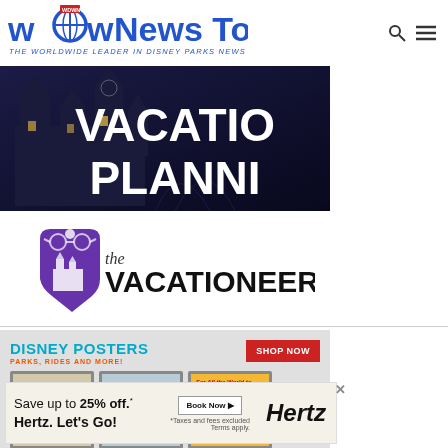[Figure (logo): WDW News Today logo with globe icon and 'wdwnt' flag banner. Blue text reading 'wDw News Today' with tagline 'THE WORLDWIDE LEADER IN DISNEY PARKS NEWS']
[Figure (photo): Dark blue nighttime banner image with castle silhouette and bold white text reading 'VACATION PLANNING' (partially cropped)]
[Figure (logo): The Vacationeer logo: purple tag icon with castle and bold text 'the VACATIONEER']
[Figure (illustration): Disney Posters advertisement: light gray background, cyan heading 'DISNEY POSTERS', orange subheading 'PARKS, RIDES AND MORE!', red 'SHOP NOW' button, three framed poster thumbnails]
[Figure (other): Hertz advertisement: 'Save up to 25% off.* Hertz. Let's Go!' with 'Book Now' button and Hertz logo. Footnote: '*Taxes and fees excluded Terms apply.']